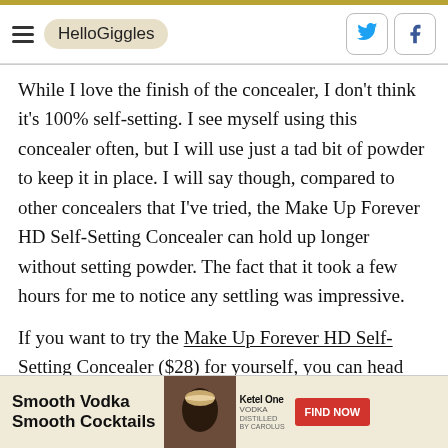HelloGiggles
While I love the finish of the concealer, I don't think it's 100% self-setting. I see myself using this concealer often, but I will use just a tad bit of powder to keep it in place. I will say though, compared to other concealers that I've tried, the Make Up Forever HD Self-Setting Concealer can hold up longer without setting powder. The fact that it took a few hours for me to notice any settling was impressive.
If you want to try the Make Up Forever HD Self-Setting Concealer ($28) for yourself, you can head over
[Figure (advertisement): Smooth Vodka Smooth Cocktails advertisement with Ketel One Vodka branding, an image of a cocktail, and a red Find Now button]